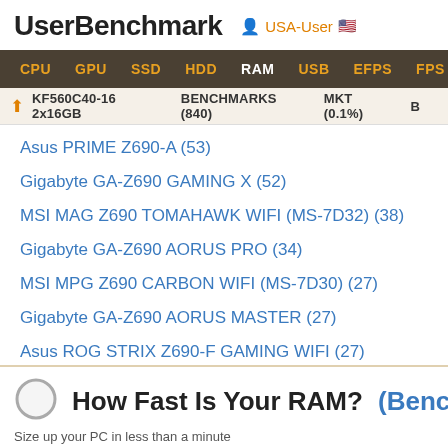UserBenchmark  USA-User
CPU  GPU  SSD  HDD  RAM  USB  EFPS  FPS  Sk
↑ KF560C40-16 2x16GB  BENCHMARKS (840)  MKT (0.1%)  B
Asus PRIME Z690-A (53)
Gigabyte GA-Z690 GAMING X (52)
MSI MAG Z690 TOMAHAWK WIFI (MS-7D32) (38)
Gigabyte GA-Z690 AORUS PRO (34)
MSI MPG Z690 CARBON WIFI (MS-7D30) (27)
Gigabyte GA-Z690 AORUS MASTER (27)
Asus ROG STRIX Z690-F GAMING WIFI (27)
How Fast Is Your RAM? (Bench yo
Size up your PC in less than a minute